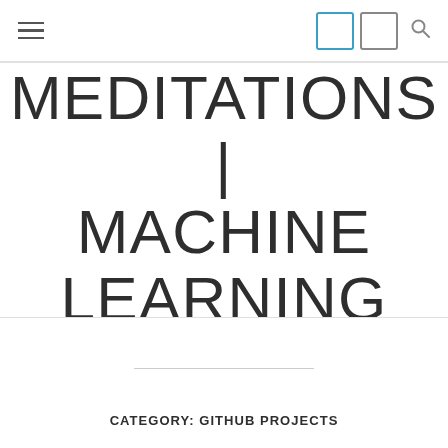navigation bar with hamburger menu, view icons, and search
MEDITATIONS | MACHINE LEARNING
CATEGORY: GITHUB PROJECTS